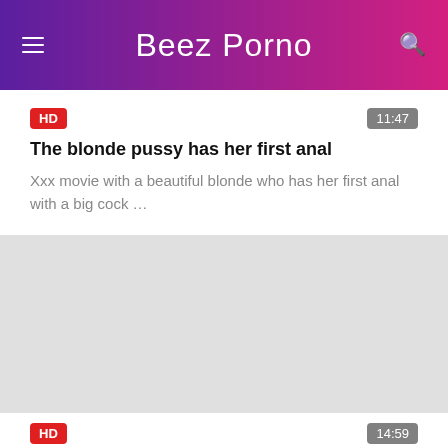Beez Porno
HD | 11:47
The blonde pussy has her first anal
Xxx movie with a beautiful blonde who has her first anal with a big cock …
HD | 14:59
Anal sex on the couch with a married pussy